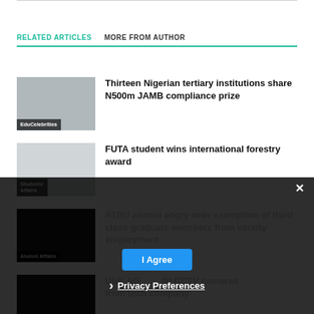RELATED ARTICLES   MORE FROM AUTHOR
[Figure (photo): Thumbnail image with EduCelebrities label]
Thirteen Nigerian tertiary institutions share N500m JAMB compliance prize
[Figure (photo): Thumbnail image with Students' Affairs label]
FUTA student wins international forestry award
[Figure (photo): Thumbnail image with Alumni Affairs label]
ATBU alumni angry over exemption of third class graduate members from varsity employment
[Figure (photo): Thumbnail image for UNILAG article]
UNILAG receives 00 CCTV cameras from tech company
Privacy Preferences
I Agree